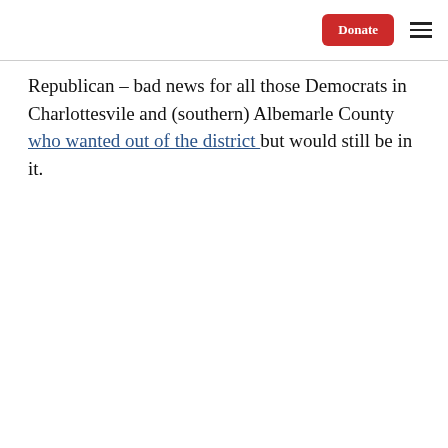Donate [button] [menu]
Republican – bad news for all those Democrats in Charlottesvile and (southern) Albemarle County who wanted out of the district but would still be in it.